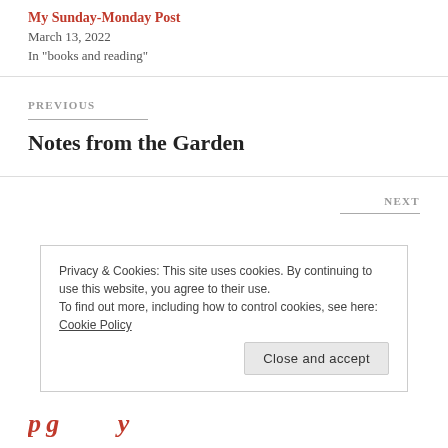My Sunday-Monday Post
March 13, 2022
In "books and reading"
PREVIOUS
Notes from the Garden
NEXT
Privacy & Cookies: This site uses cookies. By continuing to use this website, you agree to their use.
To find out more, including how to control cookies, see here: Cookie Policy
Close and accept